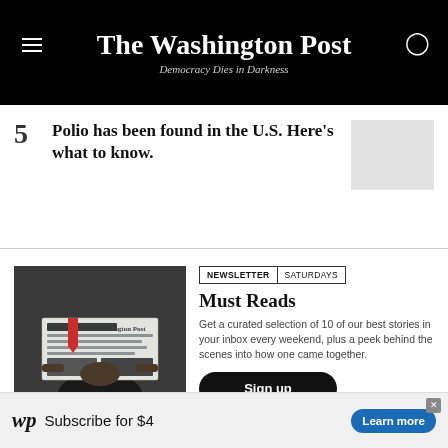The Washington Post — Democracy Dies in Darkness
5 Polio has been found in the U.S. Here's what to know.
[Figure (illustration): Gray placeholder thumbnail image]
[Figure (photo): Black and white photo of a person holding up a Washington Post newspaper]
NEWSLETTER  SATURDAYS
Must Reads
Get a curated selection of 10 of our best stories in your inbox every weekend, plus a peek behind the scenes into how one came together.
Sign up
[Figure (logo): wp logo — Subscribe for $4  Learn more advertisement banner]